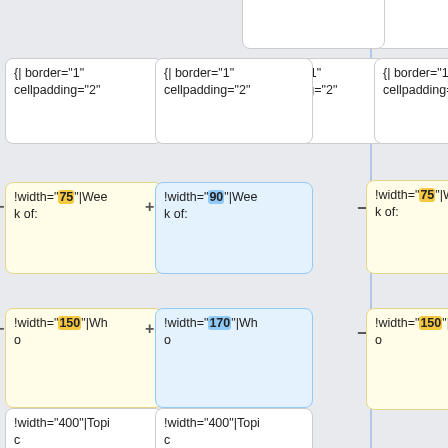{| border="1" cellpadding="2"
{| border="1" cellpadding="2"
!width="75"|Week of:
!width="90"|Week of:
!width="150"|Who
!width="170"|Who
!width="400"|Topic
!width="400"|Topic
!width="400"|Notes
!width="400"|Notes
|-
| 1 Sep || All || Organization ||
|-
|-
| 19 Jan || Faculty || New
| 8 Sep || Chris || How publishing